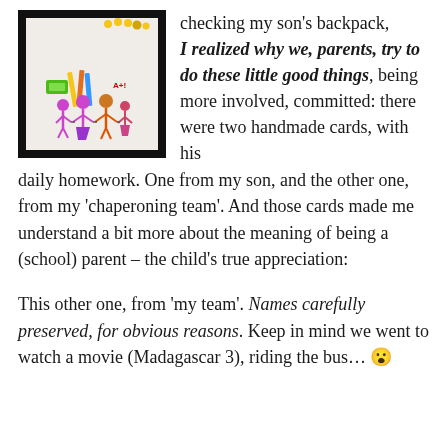[Figure (photo): A child's drawing of a family holding hands, with colorful stick figures, pencils, and decorations. The drawing is photographed against a dark background.]
checking my son's backpack, I realized why we, parents, try to do these little good things, being more involved, committed: there were two handmade cards, with his daily homework. One from my son, and the other one, from my 'chaperoning team'. And those cards made me understand a bit more about the meaning of being a (school) parent – the child's true appreciation:
This other one, from 'my team'. Names carefully preserved, for obvious reasons. Keep in mind we went to watch a movie (Madagascar 3), riding the bus… 😮